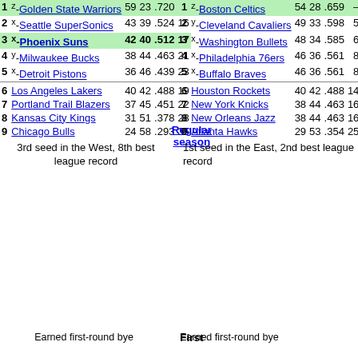| # | Team | W | L | Pct | GB |
| --- | --- | --- | --- | --- | --- |
| 1 | z-Golden State Warriors | 59 | 23 | .720 | – |
| 2 | x-Seattle SuperSonics | 43 | 39 | .524 | 16 |
| 3 | x-Phoenix Suns | 42 | 40 | .512 | 17 |
| 4 | y-Milwaukee Bucks | 38 | 44 | .463 | 21 |
| 5 | x-Detroit Pistons | 36 | 46 | .439 | 23 |
| 6 | Los Angeles Lakers | 40 | 42 | .488 | 19 |
| 7 | Portland Trail Blazers | 37 | 45 | .451 | 22 |
| 8 | Kansas City Kings | 31 | 51 | .378 | 28 |
| 9 | Chicago Bulls | 24 | 58 | .293 | 35 |
3rd seed in the West, 8th best league record
| # | Team | W | L | Pct | GB |
| --- | --- | --- | --- | --- | --- |
| 1 | z-Boston Celtics | 54 | 28 | .659 | – |
| 2 | y-Cleveland Cavaliers | 49 | 33 | .598 | 5 |
| 3 | x-Washington Bullets | 48 | 34 | .585 | 6 |
| 4 | x-Philadelphia 76ers | 46 | 36 | .561 | 8 |
| 5 | x-Buffalo Braves | 46 | 36 | .561 | 8 |
| 6 | Houston Rockets | 40 | 42 | .488 | 14 |
| 7 | New York Knicks | 38 | 44 | .463 | 16 |
| 8 | New Orleans Jazz | 38 | 44 | .463 | 16 |
| 9 | Atlanta Hawks | 29 | 53 | .354 | 25 |
1st seed in the East, 2nd best league record
Regular season
First